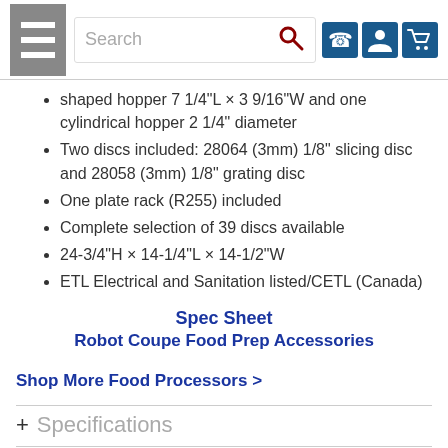Search [navigation bar with hamburger menu, search, phone, account, cart icons]
shaped hopper 7 1/4"L × 3 9/16"W and one cylindrical hopper 2 1/4" diameter
Two discs included: 28064 (3mm) 1/8" slicing disc and 28058 (3mm) 1/8" grating disc
One plate rack (R255) included
Complete selection of 39 discs available
24-3/4"H × 14-1/4"L × 14-1/2"W
ETL Electrical and Sanitation listed/CETL (Canada)
Spec Sheet
Robot Coupe Food Prep Accessories
Shop More Food Processors >
+ Specifications
+ Reviews